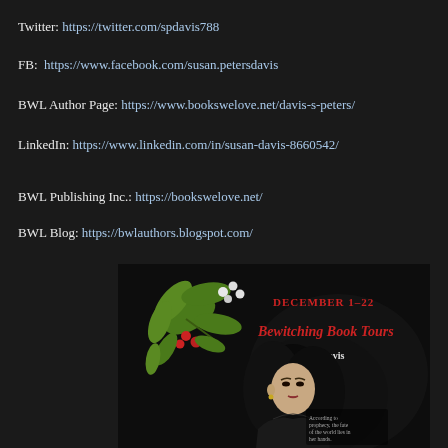Twitter: https://twitter.com/spdavis788
FB:  https://www.facebook.com/susan.petersdavis
BWL Author Page: https://www.bookswelove.net/davis-s-peters/
LinkedIn: https://www.linkedin.com/in/susan-davis-8660542/
BWL Publishing Inc.: https://bookswelove.net/
BWL Blog: https://bwlauthors.blogspot.com/
[Figure (illustration): Book tour promotional image for Bewitching Book Tours December 1-22, featuring S. Peters-Davis book cover with a woman with dark hair, holly decoration, and text 'According to prophecy, the fate of the world lies in her hands.']